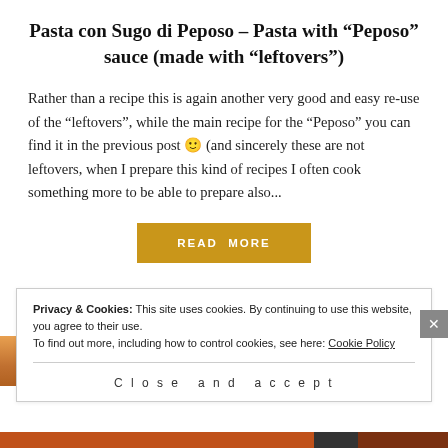Pasta con Sugo di Peposo – Pasta with "Peposo" sauce (made with "leftovers")
Rather than a recipe this is again another very good and easy re-use of the “leftovers”, while the main recipe for the “Peposo” you can find it in the previous post 🙂 (and sincerely these are not leftovers, when I prepare this kind of recipes I often cook something more to be able to prepare also...
READ MORE
Privacy & Cookies: This site uses cookies. By continuing to use this website, you agree to their use.
To find out more, including how to control cookies, see here: Cookie Policy
Close and accept